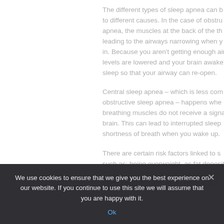The different types of sleep apnea can be linked to different causes. In the case of obstructive apnea, the muscles at the back of the throat leading to the airways narrowing when you breathe in. Because you aren't getting enough air, oxygen levels are lowered and your brain awakens you from sleep so that your airway can re-open.
Central sleep apnea – which is less common than obstructive sleep apnea – happens when your breathing muscles do not receive a signal from your brain. This can lead to interrupted sleep and shortness of breath when you wake up.
There are certain risk factors linked to sleep apnea, such as; being overweight, as fat deposits can obstruct the upper airway; having a thick...
We use cookies to ensure that we give you the best experience on our website. If you continue to use this site we will assume that you are happy with it.